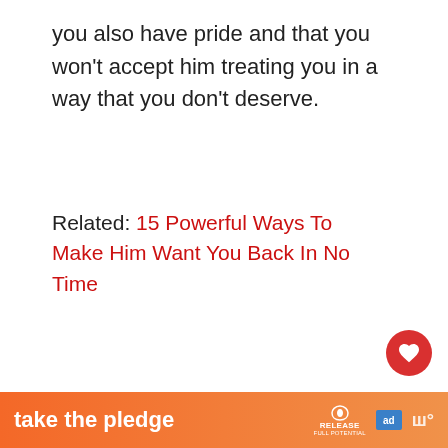you also have pride and that you won't accept him treating you in a way that you don't deserve.
Related: 15 Powerful Ways To Make Him Want You Back In No Time
Get stronger while he get weaker
[Figure (photo): Partial photo of a person, cropped at bottom of visible area]
[Figure (other): Advertisement banner: 'take the pledge' with RELEASE logo and ad network logos]